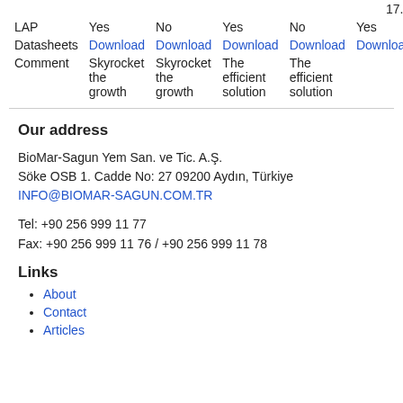|  |  |  |  |  |  |
| --- | --- | --- | --- | --- | --- |
|  |  |  |  |  | 17.4 |
| LAP | Yes | No | Yes | No | Yes |
| Datasheets | Download | Download | Download | Download | Download |
| Comment | Skyrocket the growth | Skyrocket the growth | The efficient solution | The efficient solution |  |
Our address
BioMar-Sagun Yem San. ve Tic. A.Ş.
Söke OSB 1. Cadde No: 27 09200 Aydın, Türkiye
INFO@BIOMAR-SAGUN.COM.TR
Tel: +90 256 999 11 77
Fax: +90 256 999 11 76 / +90 256 999 11 78
Links
About
Contact
Articles